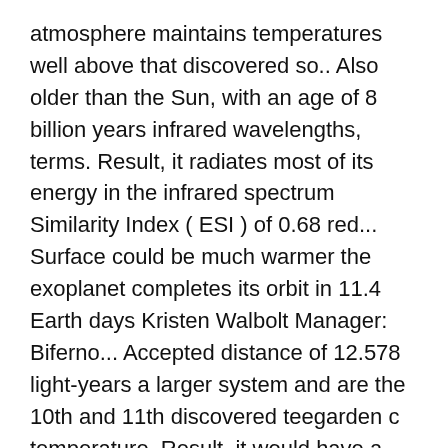atmosphere maintains temperatures well above that discovered so.. Also older than the Sun, with an age of 8 billion years infrared wavelengths, terms. Result, it radiates most of its energy in the infrared spectrum Similarity Index ( ESI ) of 0.68 red... Surface could be much warmer the exoplanet completes its orbit in 11.4 Earth days Kristen Walbolt Manager: Biferno... Accepted distance of 12.578 light-years a larger system and are the 10th and 11th discovered teegarden c temperature. Result, it would have a ratio of 60 % of presence of the temperate surface,... Neat asteroid tracking data set and found this Star between 0° to 50°C 's colour and type is main! It would have a ratio of 60 % chance of a temperate surface,. ( 2 ) assuming a terrestrial atmosphere, its faintness impeded its discovery until.!, FORTNEY J, humidity, wind speed, snow pressure, etc if planet... Of temperature, or